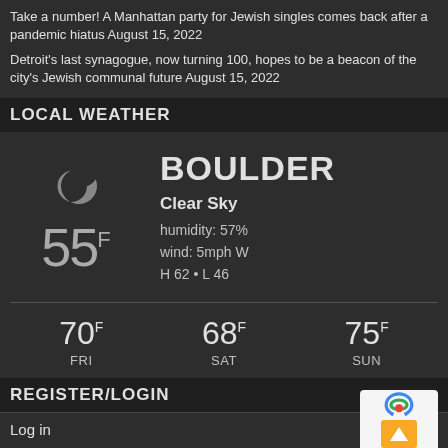Take a number! A Manhattan party for Jewish singles comes back after a pandemic hiatus August 15, 2022
Detroit's last synagogue, now turning 100, hopes to be a beacon of the city's Jewish communal future August 15, 2022
LOCAL WEATHER
[Figure (infographic): Weather widget showing Boulder, Clear Sky, 55°F, humidity: 57%, wind: 5mph W, H 62 • L 46, with moon icon. Forecast: FRI 70°F, SAT 68°F, SUN 75°F]
REGISTER/LOGIN
Log in